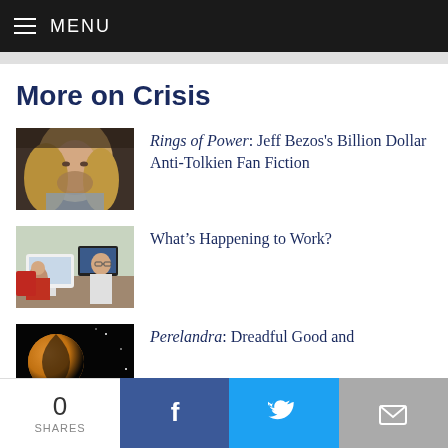MENU
More on Crisis
[Figure (photo): Close-up of a woman with long blonde hair looking downward, in a fantasy/film setting]
Rings of Power: Jeff Bezos's Billion Dollar Anti-Tolkien Fan Fiction
[Figure (photo): Office scene with people working at computers; a man with glasses and a woman visible]
What’s Happening to Work?
[Figure (photo): A planet or moon against a dark background, partially lit in amber tones]
Perelandra: Dreadful Good and